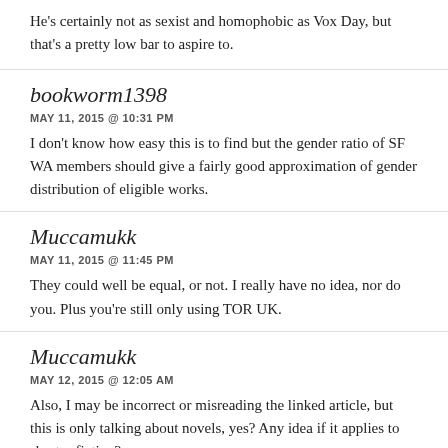He's certainly not as sexist and homophobic as Vox Day, but that's a pretty low bar to aspire to.
bookworm1398
MAY 11, 2015 @ 10:31 PM
I don't know how easy this is to find but the gender ratio of SF WA members should give a fairly good approximation of gender distribution of eligible works.
Muccamukk
MAY 11, 2015 @ 11:45 PM
They could well be equal, or not. I really have no idea, nor do you. Plus you're still only using TOR UK.
Muccamukk
MAY 12, 2015 @ 12:05 AM
Also, I may be incorrect or misreading the linked article, but this is only talking about novels, yes? Any idea if it applies to shorter fiction?